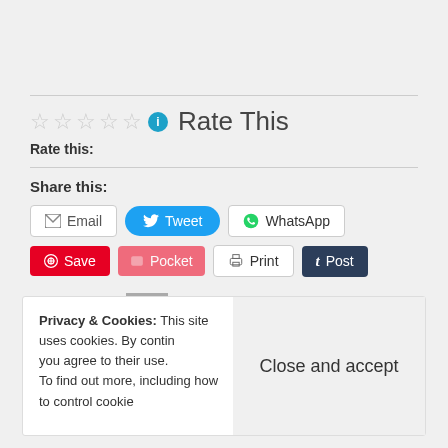Rate this: ☆☆☆☆☆ ℹ Rate This
Share this:
Email  Tweet  WhatsApp
Save  [Pocket]  Print  Post
★ Like  One blogger likes this.
Privacy & Cookies: This site uses cookies. By continuing to use this website, you agree to their use. To find out more, including how to control cookies, see here: Cookie Policy
Close and accept